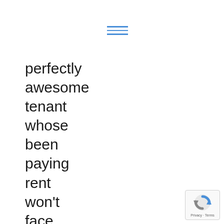[Figure (other): Hamburger menu icon with three horizontal blue lines]
perfectly
awesome
tenant
whose
been
paying
rent
won't
face
any
[Figure (logo): Google reCAPTCHA badge with Privacy and Terms text]